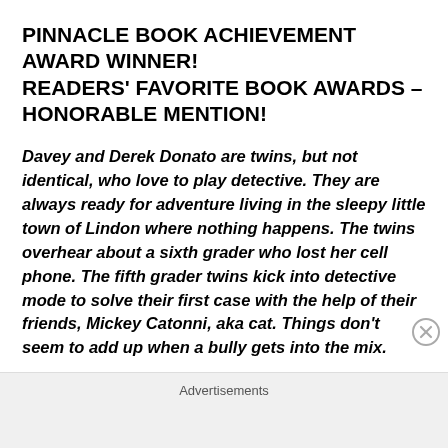PINNACLE BOOK ACHIEVEMENT AWARD WINNER! READERS' FAVORITE BOOK AWARDS – HONORABLE MENTION!
Davey and Derek Donato are twins, but not identical, who love to play detective. They are always ready for adventure living in the sleepy little town of Lindon where nothing happens. The twins overhear about a sixth grader who lost her cell phone. The fifth grader twins kick into detective mode to solve their first case with the help of their friends, Mickey Catonni, aka cat. Things don't seem to add up when a bully gets into the mix.
Advertisements